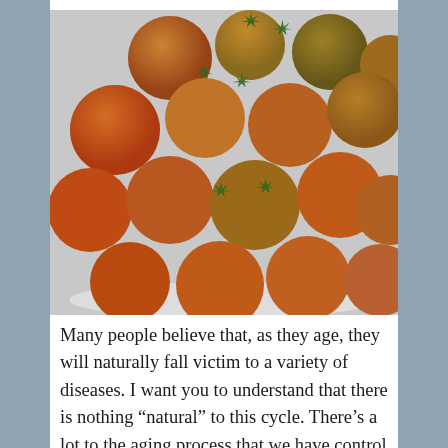[Figure (photo): A bowl filled with numerous cherry tomatoes in various stages of ripeness, ranging from red-orange to green, many with stems attached.]
Many people believe that, as they age, they will naturally fall victim to a variety of diseases. I want you to understand that there is nothing “natural” to this cycle. There’s a lot to the aging process that we have control over. Sure, it all catches up with us in the end. But isn’t it interesting to imagine living out more of your years with independence, vigor